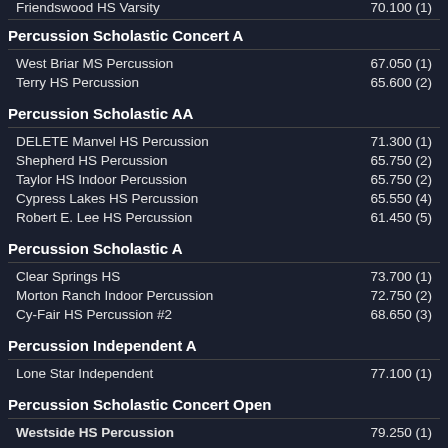Friendswood HS Varsity — 70.100 (1)
Percussion Scholastic Concert A
West Briar MS Percussion — 67.050 (1)
Terry HS Percussion — 65.600 (2)
Percussion Scholastic AA
DELETE Manvel HS Percussion — 71.300 (1)
Shepherd HS Percussion — 65.750 (2)
Taylor HS Indoor Percussion — 65.750 (2)
Cypress Lakes HS Percussion — 65.550 (4)
Robert E. Lee HS Percussion — 61.450 (5)
Percussion Scholastic A
Clear Springs HS — 73.700 (1)
Morton Ranch Indoor Percussion — 72.750 (2)
Cy-Fair HS Percussion #2 — 68.650 (3)
Percussion Independent A
Lone Star Independent — 77.100 (1)
Percussion Scholastic Concert Open
Westside HS Percussion — 79.250 (1)